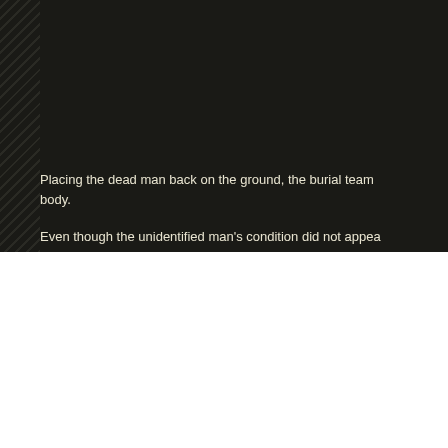Placing the dead man back on the ground, the burial team body.
Even though the unidentified man's condition did not appear more hours, health workers arrived to pick him up in an am according to Yahoo News.
According to Epoch Time, several "Ebola zombies" reports since the past few weeks, but most of them false.